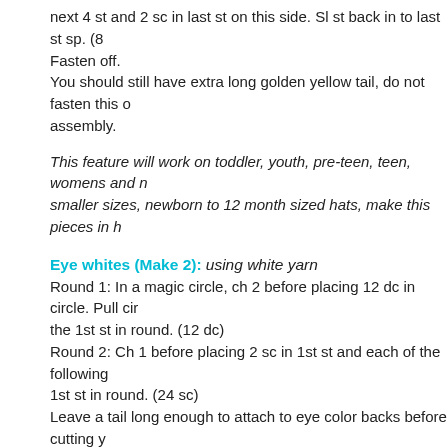next 4 st and 2 sc in last st on this side. Sl st back in to last st sp. (8 s Fasten off.
You should still have extra long golden yellow tail, do not fasten this o assembly.
This feature will work on toddler, youth, pre-teen, teen, womens and n smaller sizes, newborn to 12 month sized hats, make this pieces in h
Eye whites (Make 2): using white yarn
Round 1: In a magic circle, ch 2 before placing 12 dc in circle. Pull cir the 1st st in round. (12 dc)
Round 2: Ch 1 before placing 2 sc in 1st st and each of the following 1st st in round. (24 sc)
Leave a tail long enough to attach to eye color backs before cutting y to side until needed in assembly.
Repeat for second eye.
This feature will work on toddler, youth, pre-teen, teen, womens and n smaller sizes do following instead:
Round 1: In a magic circle, ch 2 before placing 10 hdc in circle. Pull c the 1st st in round. (10 hdc)
Round 2: Ch 1 before placing 2 sc in 1st st and each of the following